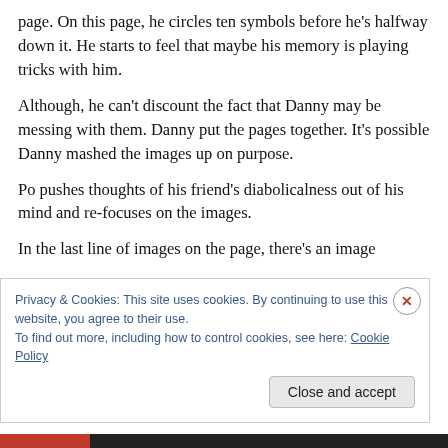page. On this page, he circles ten symbols before he's halfway down it. He starts to feel that maybe his memory is playing tricks with him.
Although, he can't discount the fact that Danny may be messing with them. Danny put the pages together. It's possible Danny mashed the images up on purpose.
Po pushes thoughts of his friend's diabolicalness out of his mind and re-focuses on the images.
In the last line of images on the page, there's an image
Privacy & Cookies: This site uses cookies. By continuing to use this website, you agree to their use.
To find out more, including how to control cookies, see here: Cookie Policy
Close and accept